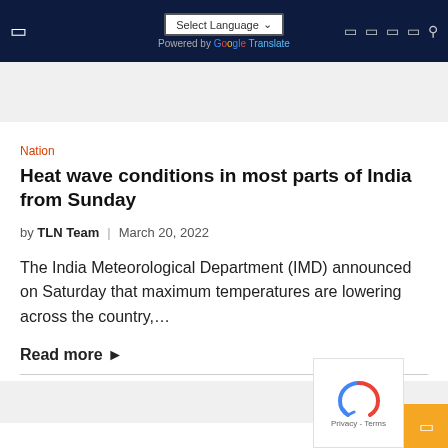Select Language | Powered by Google Translate
[Figure (other): Gray advertisement banner placeholder]
Nation
Heat wave conditions in most parts of India from Sunday
by TLN Team | March 20, 2022
The India Meteorological Department (IMD) announced on Saturday that maximum temperatures are lowering across the country,...
Read more ►
[Figure (other): Gray advertisement banner placeholder at bottom]
[Figure (other): reCAPTCHA privacy overlay widget]